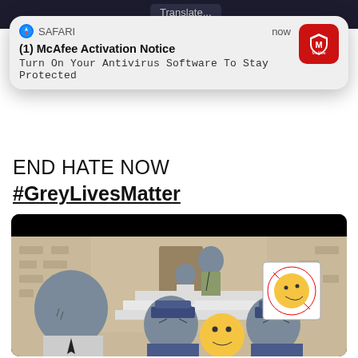[Figure (screenshot): Screenshot of a mobile browser with a McAfee push notification overlay on top of a social media post. The post shows text 'END HATE NOW #GreyLivesMatter' and a meme image featuring NPC cartoon figures and emoji.]
Translate...
SAFARI
now
(1) McAfee Activation Notice
Turn On Your Antivirus Software To Stay Protected
END HATE NOW
#GreyLivesMatter